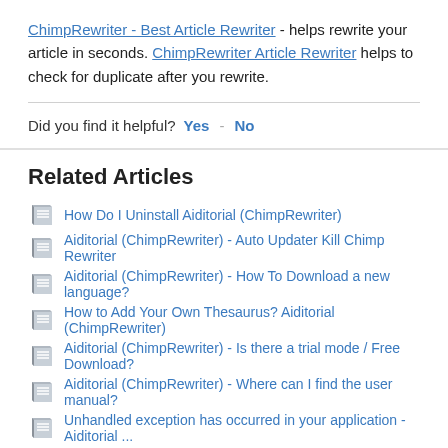ChimpRewriter - Best Article Rewriter - helps rewrite your article in seconds. ChimpRewriter Article Rewriter helps to check for duplicate after you rewrite.
Did you find it helpful? Yes - No
Related Articles
How Do I Uninstall Aiditorial (ChimpRewriter)
Aiditorial (ChimpRewriter) - Auto Updater Kill Chimp Rewriter
Aiditorial (ChimpRewriter) - How To Download a new language?
How to Add Your Own Thesaurus? Aiditorial (ChimpRewriter)
Aiditorial (ChimpRewriter) - Is there a trial mode / Free Download?
Aiditorial (ChimpRewriter) - Where can I find the user manual?
Unhandled exception has occurred in your application - Aiditorial ...
Aiditorial (ChimpRewriter) - What if I have more questions that ar...